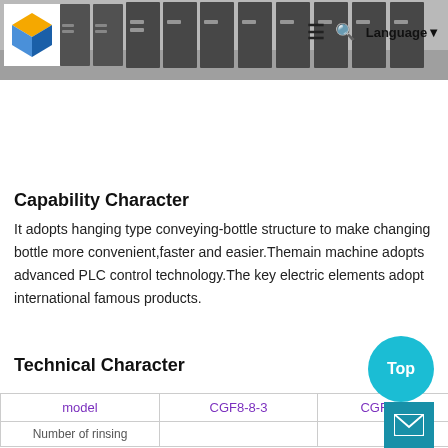[Figure (photo): Website header with a company logo (colorful cube icon) on the left, and a photo of industrial cabinets/lockers in a warehouse on the right. Navigation icons (hamburger menu, search, Language) are overlaid on the top right.]
Capability Character
It adopts hanging type conveying-bottle structure to make changing bottle more convenient,faster and easier.Themain machine adopts advanced PLC control technology.The key electric elements adopt international famous products.
Technical Character
| model | CGF8-8-3 | CGF14-12-4 |
| --- | --- | --- |
| Number of rinsing |  |  |